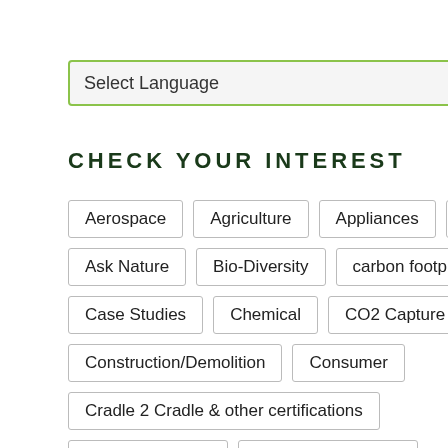Select Language
CHECK YOUR INTEREST
Aerospace
Agriculture
Appliances
Apps
Ask Nature
Bio-Diversity
carbon footprint
Case Studies
Chemical
CO2 Capture
Construction/Demolition
Consumer
Cradle 2 Cradle & other certifications
Critical Materials
Do-it-Yourself Tools
Energy: wind-water-waste---